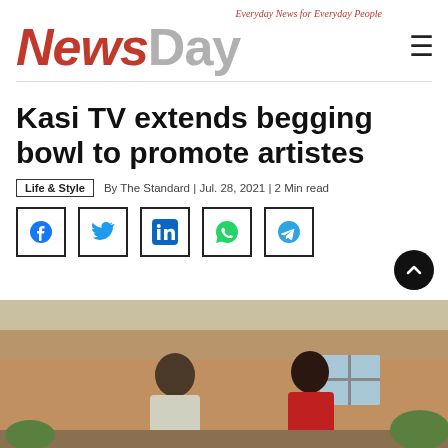Everyday News for Everyday People
[Figure (logo): NewsDay logo with red 'News' and grey 'Day' text, italic tagline above]
Kasi TV extends begging bowl to promote artistes
Life & Style | By The Standard | Jul. 28, 2021 | 2 Min read
[Figure (infographic): Social media share buttons: Facebook, Twitter, LinkedIn, WhatsApp, Telegram]
[Figure (photo): Photo of two people outdoors near a brick building]